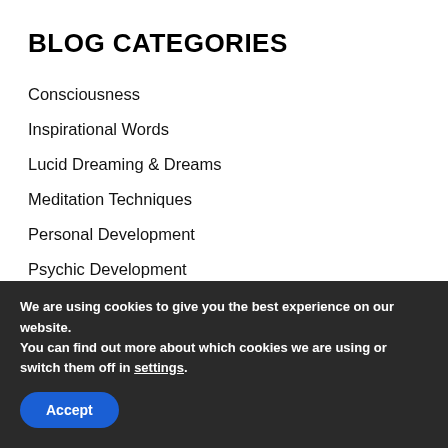BLOG CATEGORIES
Consciousness
Inspirational Words
Lucid Dreaming & Dreams
Meditation Techniques
Personal Development
Psychic Development
Spiritual Awakening
Spirituality and Practice
We are using cookies to give you the best experience on our website.
You can find out more about which cookies we are using or switch them off in settings.
Accept